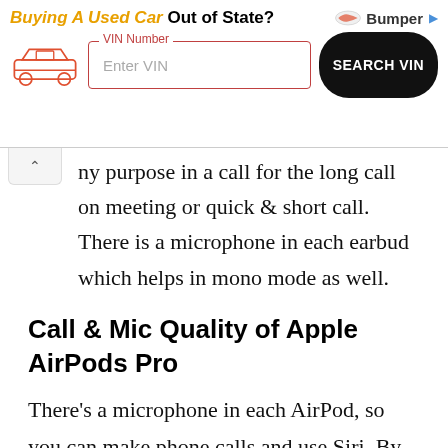[Figure (infographic): Advertisement banner for Bumper VIN search service with headline 'Buying A Used Car Out of State?', a car icon, VIN number input field, and SEARCH VIN button.]
ny purpose in a call for the long call on meeting or quick & short call. There is a microphone in each earbud which helps in mono mode as well.
Call & Mic Quality of Apple AirPods Pro
There's a microphone in each AirPod, so you can make phone calls and use Siri. By default, the Microphone is set to Automatic, so that either of your AirPods can act as the microphone. If you're using only one AirPod, that AirPod will be the microphone. You can also set the Microphone to Always Left or Always Right. These set the microphone to either the left or right AirPod. That AirPod will be the microphone even if you remove it from your ear or put it in